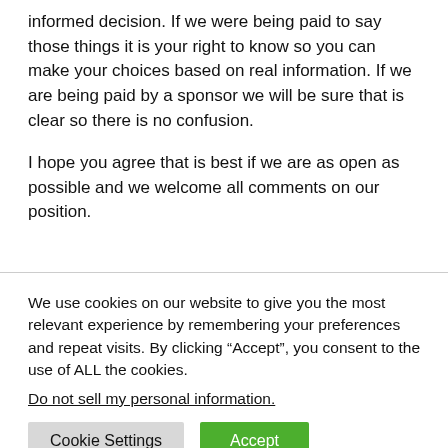informed decision.  If we were being paid to say those things it is your right to know so you can make your choices based on real information.  If we are being paid by a sponsor we will be sure that is clear so there is no confusion.
I hope you agree that is best if we are as open as possible and we welcome all comments on our position.
We use cookies on our website to give you the most relevant experience by remembering your preferences and repeat visits. By clicking “Accept”, you consent to the use of ALL the cookies.
Do not sell my personal information.